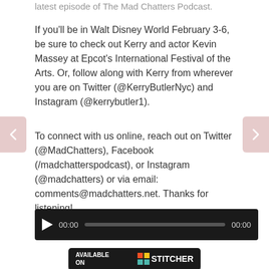latest episode of The Mad Chatters Podcast.
If you'll be in Walt Disney World February 3-6, be sure to check out Kerry and actor Kevin Massey at Epcot's International Festival of the Arts. Or, follow along with Kerry from wherever you are on Twitter (@KerryButlerNyc) and Instagram (@kerrybutler1).
To connect with us online, reach out on Twitter (@MadChatters), Facebook (/madchatterspodcast), or Instagram (@madchatters) or via email: comments@madchatters.net. Thanks for listening!
[Figure (other): Audio player with play button, 00:00 current time, progress bar, and 00:00 total time on dark background]
[Figure (other): Subscribe on iTunes button with iTunes music note icon]
[Figure (other): Available on Stitcher button with Stitcher logo and colored squares]